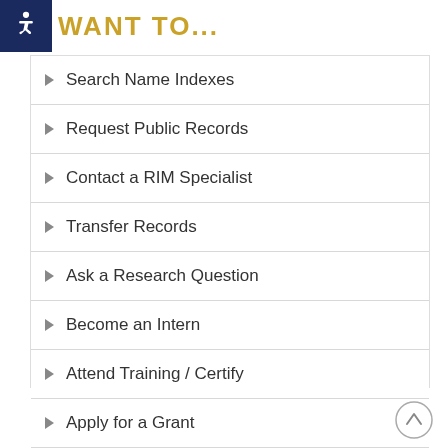WANT TO...
Search Name Indexes
Request Public Records
Contact a RIM Specialist
Transfer Records
Ask a Research Question
Become an Intern
Attend Training / Certify
Apply for a Grant
Submit Idea to GovOps